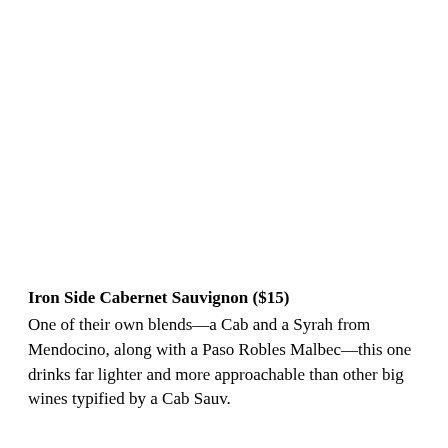Iron Side Cabernet Sauvignon ($15)
One of their own blends—a Cab and a Syrah from Mendocino, along with a Paso Robles Malbec—this one drinks far lighter and more approachable than other big wines typified by a Cab Sauv.